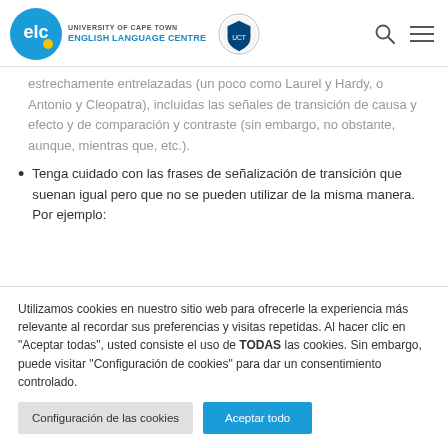University of Cape Town - English Language Centre
estrechamente entrelazadas (un poco como Laurel y Hardy, o Antonio y Cleopatra), incluidas las señales de transición de causa y efecto y de comparación y contraste (sin embargo, no obstante, aunque, mientras que, etc.).
Tenga cuidado con las frases de señalización de transición que suenan igual pero que no se pueden utilizar de la misma manera. Por ejemplo:
Utilizamos cookies en nuestro sitio web para ofrecerle la experiencia más relevante al recordar sus preferencias y visitas repetidas. Al hacer clic en "Aceptar todas", usted consiente el uso de TODAS las cookies. Sin embargo, puede visitar "Configuración de cookies" para dar un consentimiento controlado.